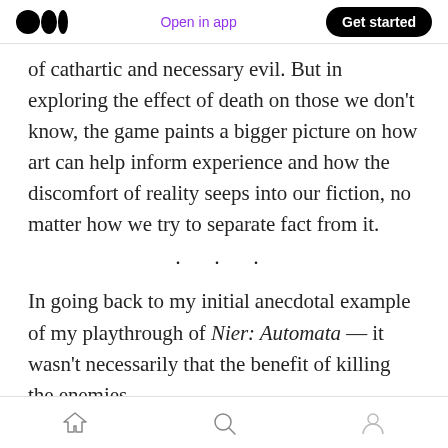Medium logo | Open in app | Get started
of cathartic and necessary evil. But in exploring the effect of death on those we don't know, the game paints a bigger picture on how art can help inform experience and how the discomfort of reality seeps into our fiction, no matter how we try to separate fact from it.
· · ·
In going back to my initial anecdotal example of my playthrough of Nier: Automata — it wasn't necessarily that the benefit of killing the enemies
Home | Search | Profile